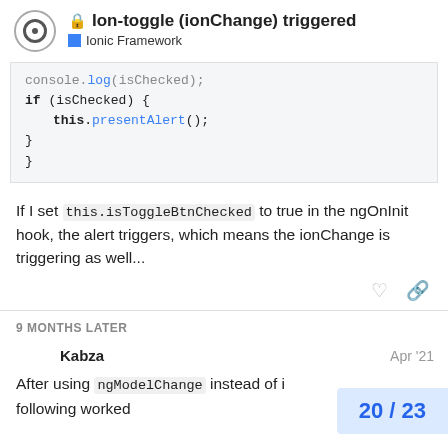Ion-toggle (ionChange) triggered — Ionic Framework
[Figure (screenshot): Code block showing JavaScript: console.log(isChecked); if (isChecked) { this.presentAlert(); } }]
If I set this.isToggleBtnChecked to true in the ngOnInit hook, the alert triggers, which means the ionChange is triggering as well...
9 MONTHS LATER
Kabza — Apr '21
After using ngModelChange instead of i following worked